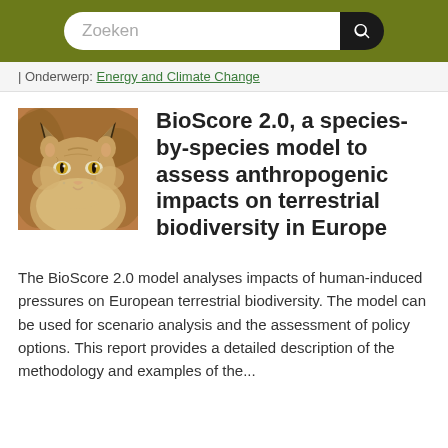[Figure (screenshot): Website header with olive/dark-yellow background containing a search bar labeled 'Zoeken' and a search button]
| Onderwerp: Energy and Climate Change
BioScore 2.0, a species-by-species model to assess anthropogenic impacts on terrestrial biodiversity in Europe
[Figure (photo): Close-up photograph of a lynx facing the camera, with distinctive ear tufts, against a blurred brownish background]
The BioScore 2.0 model analyses impacts of human-induced pressures on European terrestrial biodiversity. The model can be used for scenario analysis and the assessment of policy options. This report provides a detailed description of the methodology and examples of the...